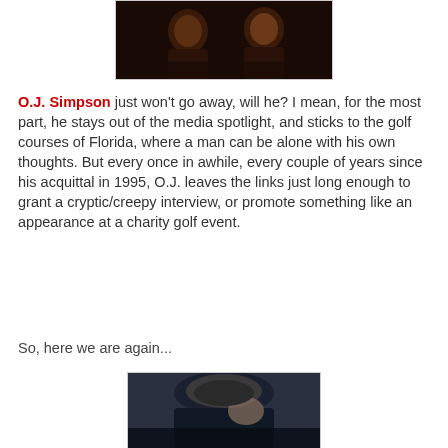[Figure (photo): Photo showing two people, partially cropped, dark background with warm tones]
O.J. Simpson just won't go away, will he? I mean, for the most part, he stays out of the media spotlight, and sticks to the golf courses of Florida, where a man can be alone with his own thoughts. But every once in awhile, every couple of years since his acquittal in 1995, O.J. leaves the links just long enough to grant a cryptic/creepy interview, or promote something like an appearance at a charity golf event.
So, here we are again...
[Figure (photo): Close-up photo of a person bowing their head, dark clothing, blurred background]